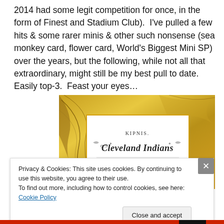2014 had some legit competition for once, in the form of Finest and Stadium Club).  I've pulled a few hits & some rarer minis & other such nonsense (sea monkey card, flower card, World's Biggest Mini SP) over the years, but the following, while not all that extraordinary, might still be my best pull to date.  Easily top-3.  Feast your eyes…
[Figure (photo): A trading card with a gold ornate border featuring a white inner panel. The card reads 'KIPNIS.' at the top and 'Cleveland Indians' in decorative script lettering below.]
Privacy & Cookies: This site uses cookies. By continuing to use this website, you agree to their use.
To find out more, including how to control cookies, see here: Cookie Policy